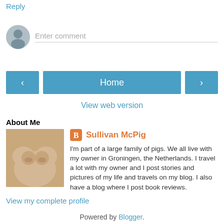Reply
Enter comment
Home
View web version
About Me
Sullivan McPig
I'm part of a large family of pigs. We all live with my owner in Groningen, the Netherlands. I travel a lot with my owner and I post stories and pictures of my life and travels on my blog. I also have a blog where I post book reviews.
View my complete profile
Powered by Blogger.